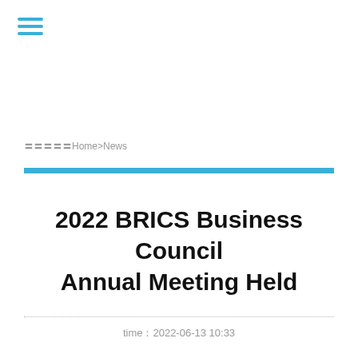[Figure (other): Hamburger menu icon with three horizontal cyan/teal lines in the top-left corner]
〓〓〓〓〓Home>News
2022 BRICS Business Council Annual Meeting Held
time：2022-06-13 10:33